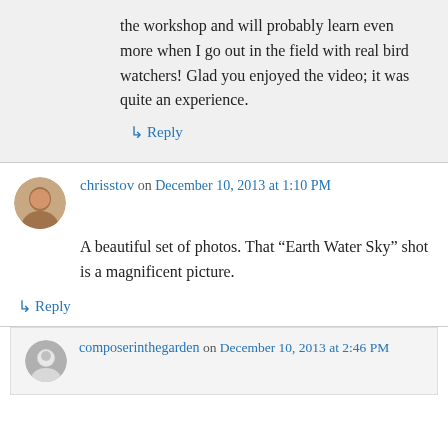the workshop and will probably learn even more when I go out in the field with real bird watchers! Glad you enjoyed the video; it was quite an experience.
↳ Reply
chrisstov on December 10, 2013 at 1:10 PM
A beautiful set of photos. That “Earth Water Sky” shot is a magnificent picture.
↳ Reply
composerinthegarden on December 10, 2013 at 2:46 PM